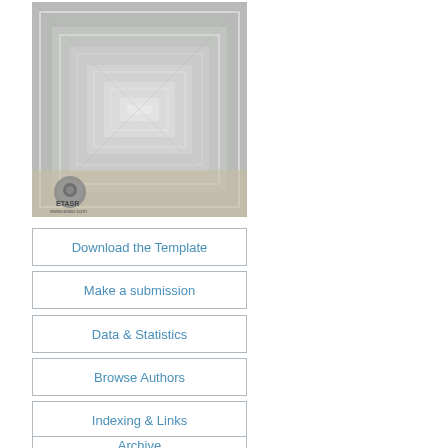[Figure (illustration): Abstract tunnel/corridor geometric design in grey tones with a small circular logo in the bottom-left corner reading 'ETASR' and 'www.etasr.com']
Download the Template
Make a submission
Data & Statistics
Browse Authors
Indexing & Links
Archive